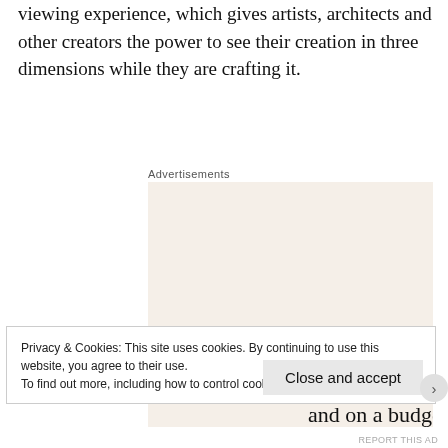viewing experience, which gives artists, architects and other creators the power to see their creation in three dimensions while they are crafting it.
Advertisements
[Figure (illustration): Advertisement banner with beige background reading 'Need a website quickly – and on a budget? Let us build it for you' with a 'Let's get started' button and a circular photo of hands typing on a laptop.]
Privacy & Cookies: This site uses cookies. By continuing to use this website, you agree to their use.
To find out more, including how to control cookies, see here: Cookie Policy
Close and accept